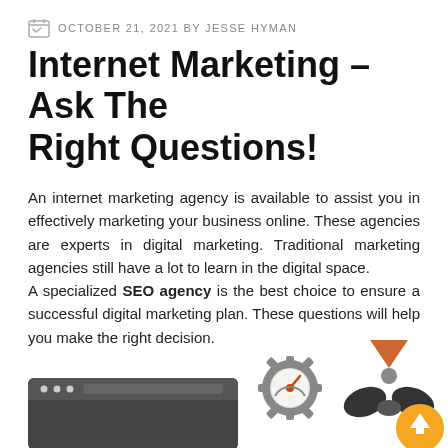OCTOBER 21, 2021 BY JESSE HYMAN
Internet Marketing – Ask The Right Questions!
An internet marketing agency is available to assist you in effectively marketing your business online. These agencies are experts in digital marketing. Traditional marketing agencies still have a lot to learn in the digital space.
A specialized SEO agency is the best choice to ensure a successful digital marketing plan. These questions will help you make the right decision.
[Figure (illustration): Decorative illustration at the bottom of the page showing a browser window, a gear/speedometer icon, and a character figure. An orange circular up-arrow button in the bottom right corner.]